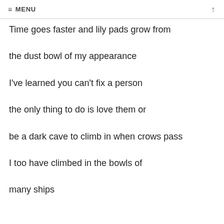≡ MENU ↑
Time goes faster and lily pads grow from
the dust bowl of my appearance
I've learned you can't fix a person
the only thing to do is love them or
be a dark cave to climb in when crows pass
I too have climbed in the bowls of
many ships